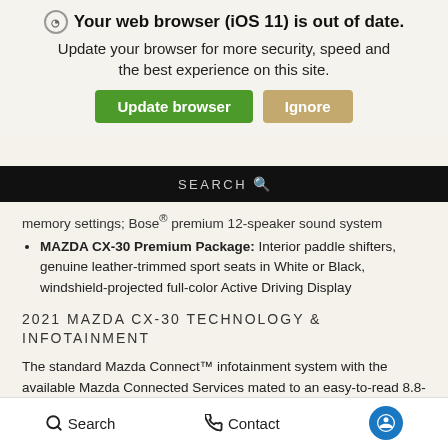Your web browser (iOS 11) is out of date. Update your browser for more security, speed and the best experience on this site.
Update browser | Ignore
SEARCH
memory settings; Bose® premium 12-speaker sound system
MAZDA CX-30 Premium Package: Interior paddle shifters, genuine leather-trimmed sport seats in White or Black, windshield-projected full-color Active Driving Display
2021 MAZDA CX-30 TECHNOLOGY & INFOTAINMENT
The standard Mazda Connect™ infotainment system with the available Mazda Connected Services mated to an easy-to-read 8.8-inch central display keeps you on top of your favorite apps and music. Additional interior technologies include:
Apple CarPlay® and Android Auto™ smartphone integration
Search   Contact